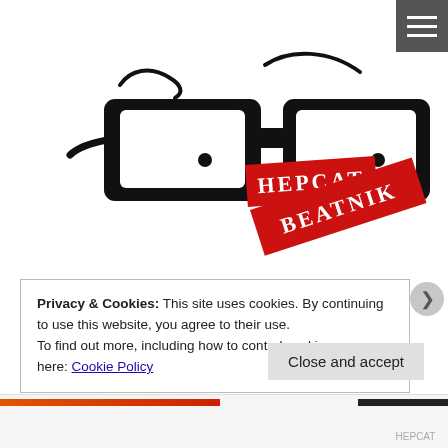[Figure (logo): Hepcat Beatnik logo: hand-drawn thick-rimmed eyeglasses with squiggly eyebrows above, and two red stamp-style label badges reading 'HEPCAT' and 'BEATNIK' in white serif letters]
Privacy & Cookies: This site uses cookies. By continuing to use this website, you agree to their use.
To find out more, including how to control cookies, see here: Cookie Policy
Close and accept